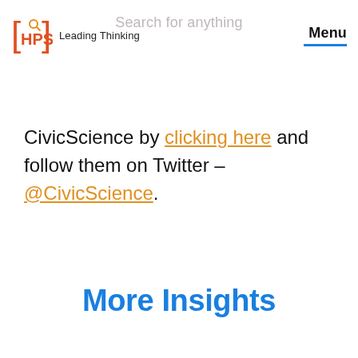[HPS] Leading Thinking | Search for anything | Menu
CivicScience by clicking here and follow them on Twitter – @CivicScience.
More Insights